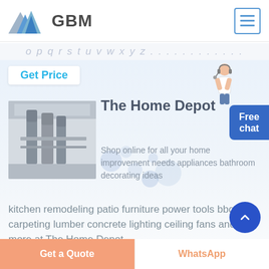GBM
Shop online for all your home improvement needs appliances bathroom decorating ideas kitchen remodeling patio furniture power tools bbq grills carpeting lumber concrete lighting ceiling fans and more at The Home Depot.
Get Price
The Home Depot
Free chat
Get a Quote
WhatsApp